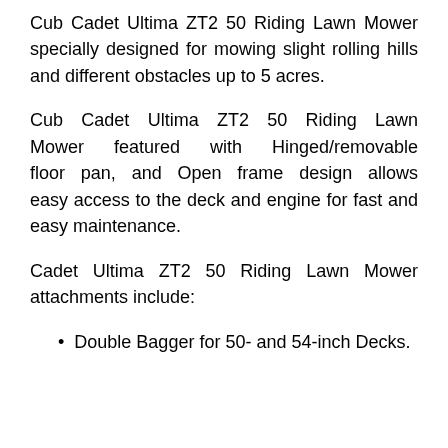Cub Cadet Ultima ZT2 50 Riding Lawn Mower specially designed for mowing slight rolling hills and different obstacles up to 5 acres.
Cub Cadet Ultima ZT2 50 Riding Lawn Mower featured with Hinged/removable floor pan, and Open frame design allows easy access to the deck and engine for fast and easy maintenance.
Cadet Ultima ZT2 50 Riding Lawn Mower attachments include:
Double Bagger for 50- and 54-inch Decks.